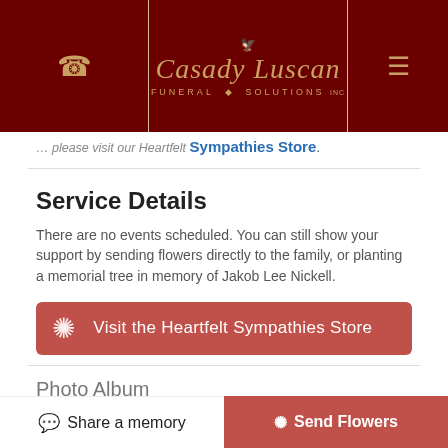[Figure (logo): Casady Luscan Funeral Solutions logo — script text with a phoenix/wing icon in gold on dark red background, with phone icon on left and hamburger menu on right]
Sympathies Store.
Service Details
There are no events scheduled. You can still show your support by sending flowers directly to the family, or planting a memorial tree in memory of Jakob Lee Nickell.
Visit the Heartfelt Sympathies Store
Photo Album
[Figure (photo): Two partially visible photo thumbnails in photo album section]
Share a memory
Send Flowers